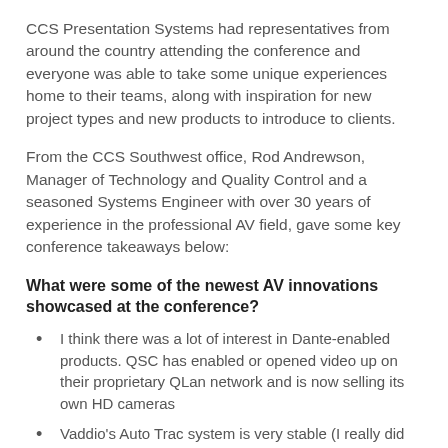CCS Presentation Systems had representatives from around the country attending the conference and everyone was able to take some unique experiences home to their teams, along with inspiration for new project types and new products to introduce to clients.
From the CCS Southwest office, Rod Andrewson, Manager of Technology and Quality Control and a seasoned Systems Engineer with over 30 years of experience in the professional AV field, gave some key conference takeaways below:
What were some of the newest AV innovations showcased at the conference?
I think there was a lot of interest in Dante-enabled products. QSC has enabled or opened video up on their proprietary QLan network and is now selling its own HD cameras
Vaddio's Auto Trac system is very stable (I really did